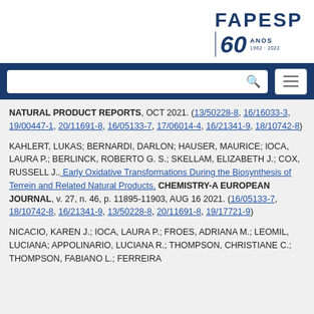[Figure (logo): FAPESP 60 anos logo, blue text with large italic 60 and vertical bar]
Navigation bar with search box and menu button
NATURAL PRODUCT REPORTS, OCT 2021. (13/50228-8, 16/16033-3, 19/00447-1, 20/11691-8, 16/05133-7, 17/06014-4, 16/21341-9, 18/10742-8)
KAHLERT, LUKAS; BERNARDI, DARLON; HAUSER, MAURICE; IOCA, LAURA P.; BERLINCK, ROBERTO G. S.; SKELLAM, ELIZABETH J.; COX, RUSSELL J.. Early Oxidative Transformations During the Biosynthesis of Terrein and Related Natural Products. CHEMISTRY-A EUROPEAN JOURNAL, v. 27, n. 46, p. 11895-11903, AUG 16 2021. (16/05133-7, 18/10742-8, 16/21341-9, 13/50228-8, 20/11691-8, 19/17721-9)
NICACIO, KAREN J.; IOCA, LAURA P.; FROES, ADRIANA M.; LEOMIL, LUCIANA; APPOLINARIO, LUCIANA R.; THOMPSON, CHRISTIANE C.; THOMPSON, FABIANO L.; FERREIRA